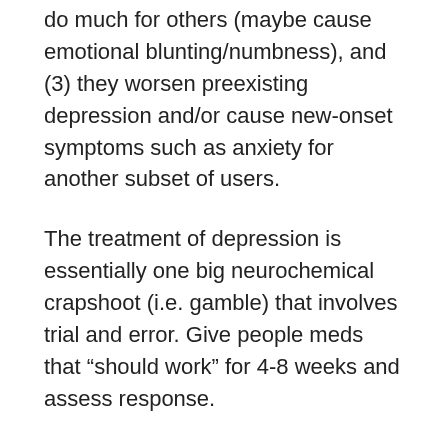do much for others (maybe cause emotional blunting/numbness), and (3) they worsen preexisting depression and/or cause new-onset symptoms such as anxiety for another subset of users.
The treatment of depression is essentially one big neurochemical crapshoot (i.e. gamble) that involves trial and error. Give people meds that “should work” for 4-8 weeks and assess response.
If the first med doesn’t work, follow a psychiatric decision tree for subsequent meds to try – and hope those work.